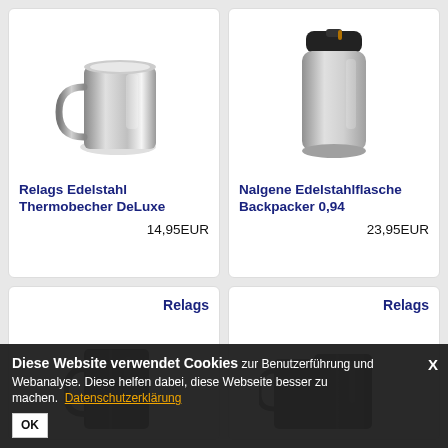[Figure (photo): Stainless steel coffee mug with handle, chrome finish]
Relags Edelstahl Thermobecher DeLuxe
14,95EUR
[Figure (photo): Nalgene stainless steel travel bottle with black lid]
Nalgene Edelstahlflasche Backpacker 0,94
23,95EUR
Relags
[Figure (photo): Black stainless steel mug, partially visible]
Relags
[Figure (photo): Two black stainless steel mugs, partially visible]
Diese Website verwendet Cookies zur Benutzerführung und Webanalyse. Diese helfen dabei, diese Webseite besser zu machen. Datenschutzerklärung
OK